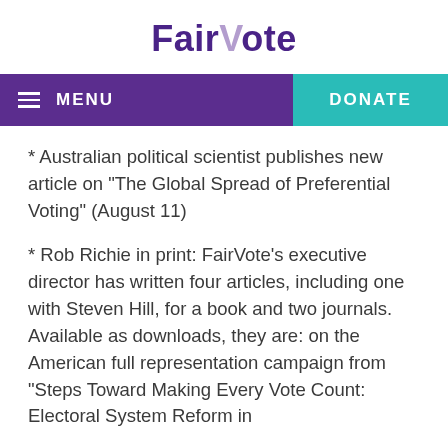FairVote
MENU   DONATE
* Australian political scientist publishes new article on "The Global Spread of Preferential Voting" (August 11)
* Rob Richie in print: FairVote's executive director has written four articles, including one with Steven Hill, for a book and two journals. Available as downloads, they are: on the American full representation campaign from "Steps Toward Making Every Vote Count: Electoral System Reform in